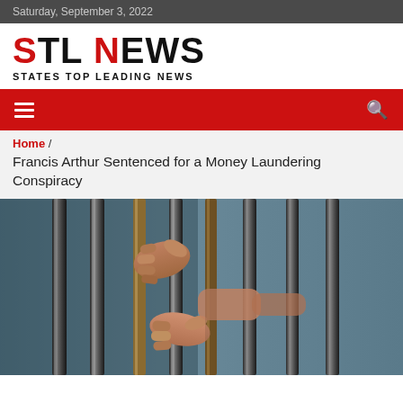Saturday, September 3, 2022
STL NEWS — STATES TOP LEADING NEWS
Home / Francis Arthur Sentenced for a Money Laundering Conspiracy
[Figure (photo): Hands gripping prison bars, close-up photography]